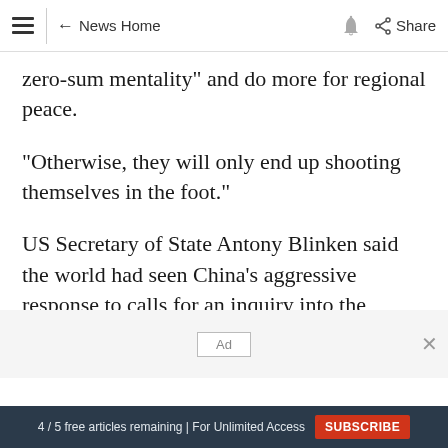≡ ← News Home 🔔 Share
zero-sum mentality" and do more for regional peace.
"Otherwise, they will only end up shooting themselves in the foot."
US Secretary of State Antony Blinken said the world had seen China's aggressive response to calls for an inquiry into the origins of coronavirus.
Ad
4 / 5 free articles remaining | For Unlimited Access SUBSCRIBE